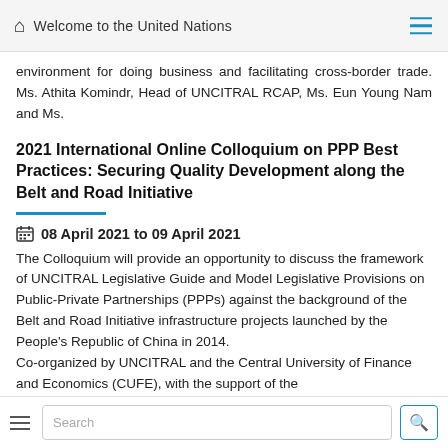Welcome to the United Nations
environment for doing business and facilitating cross-border trade. Ms. Athita Komindr, Head of UNCITRAL RCAP, Ms. Eun Young Nam and Ms.
2021 International Online Colloquium on PPP Best Practices: Securing Quality Development along the Belt and Road Initiative
08 April 2021 to 09 April 2021
The Colloquium will provide an opportunity to discuss the framework of UNCITRAL Legislative Guide and Model Legislative Provisions on Public-Private Partnerships (PPPs) against the background of the Belt and Road Initiative infrastructure projects launched by the People's Republic of China in 2014.
Co-organized by UNCITRAL and the Central University of Finance and Economics (CUFE), with the support of the